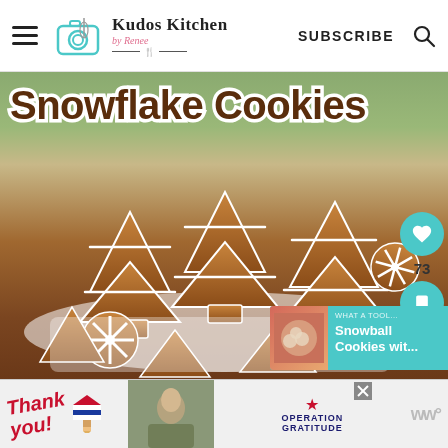Kudos Kitchen by Renee — SUBSCRIBE
[Figure (photo): Photo of snowflake-shaped gingerbread cookies decorated with white royal icing arranged in a white dish, with Christmas greenery in the background. Title overlay reads 'Snowflake Cookies' in brown text with white outline.]
[Figure (photo): Related article thumbnail: Snowball Cookies with... — small card showing cookies photo with teal background]
[Figure (photo): Advertisement bar: Thank You with US flag pencil, military photo, Operation Gratitude logo]